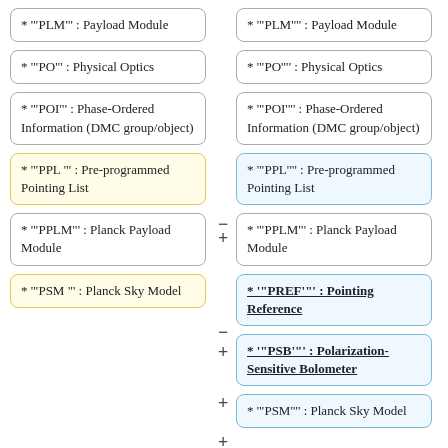* "PLM" : Payload Module
* "PLM'" : Payload Module
* "PO" : Physical Optics
* "PO'" : Physical Optics
* "POI" : Phase-Ordered Information (DMC group/object)
* "POI'" : Phase-Ordered Information (DMC group/object)
* "PPL '" : Pre-programmed Pointing List
* "PPL'" : Pre-programmed Pointing List
* "PPLM" : Planck Payload Module
* "PPLM" : Planck Payload Module
* "PSM '" : Planck Sky Model
* "PREF'" : Pointing Reference
* "PSB'" : Polarization-Sensitive Bolometer
* "PSM'" : Planck Sky Model